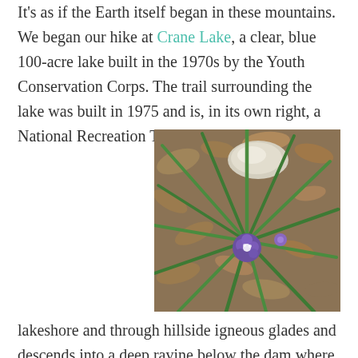It's as if the Earth itself began in these mountains. We began our hike at Crane Lake, a clear, blue 100-acre lake built in the 1970s by the Youth Conservation Corps. The trail surrounding the lake was built in 1975 and is, in its own right, a National Recreation Trail. It meanders along the
[Figure (photo): A purple wildflower (spiderwort) growing among long green grass blades and dead brown leaves on a forest floor, with a white rock visible in the background.]
lakeshore and through hillside igneous glades and descends into a deep ravine below the dam where Crane Pond Creek cascades through spectacular rhyolite shut-